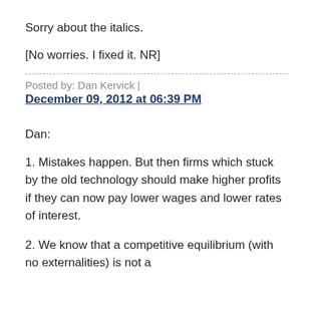Sorry about the italics.
[No worries. I fixed it. NR]
Posted by: Dan Kervick | December 09, 2012 at 06:39 PM
Dan:
1. Mistakes happen. But then firms which stuck by the old technology should make higher profits if they can now pay lower wages and lower rates of interest.
2. We know that a competitive equilibrium (with no externalities) is not a